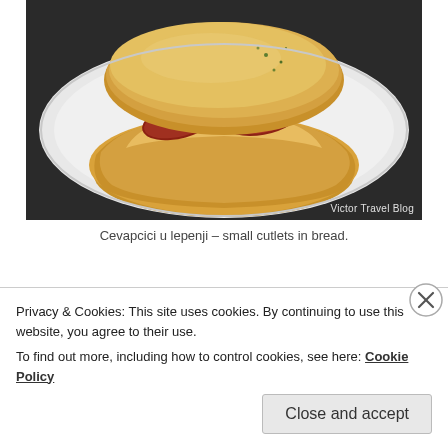[Figure (photo): A plate with cevapcici (small meat cutlets/sausages) served on flatbread (lepenji), garnished with herbs, on a white round plate on a dark wooden table. Watermark: Victor Travel Blog.]
Cevapcici u lepenji – small cutlets in bread.
Even pizza is wonderful there, but you can safely ignore local wines and desserts. Yes, unfortunately, it is not Italy. I
Privacy & Cookies: This site uses cookies. By continuing to use this website, you agree to their use.
To find out more, including how to control cookies, see here: Cookie Policy
Close and accept